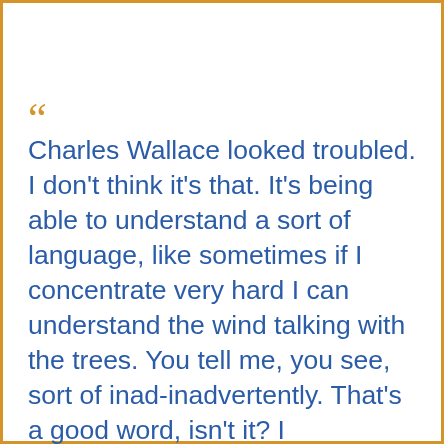“Charles Wallace looked troubled. I don't think it's that. It's being able to understand a sort of language, like sometimes if I concentrate very hard I can understand the wind talking with the trees. You tell me, you see, sort of inad-inadvertently. That's a good word, isn't it? I